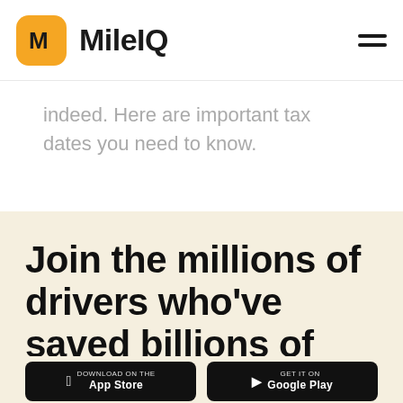MileIQ
indeed. Here are important tax dates you need to know.
Join the millions of drivers who've saved billions of dollars with MileIQ.
[Figure (other): App store download buttons: Download on the App Store and Get It On Google Play]